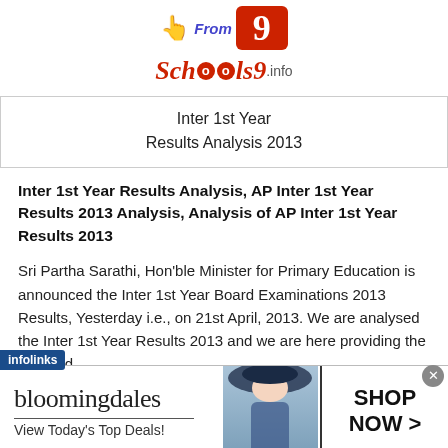[Figure (logo): Schools9.info website logo with 'From 9' text and stylized Schools9 branding with cartoon children figures]
Inter 1st Year
Results Analysis 2013
Inter 1st Year Results Analysis, AP Inter 1st Year Results 2013 Analysis, Analysis of AP Inter 1st Year Results 2013
Sri Partha Sarathi, Hon'ble Minister for Primary Education is announced the Inter 1st Year Board Examinations 2013 Results, Yesterday i.e., on 21st April, 2013. We are analysed the Inter 1st Year Results 2013 and we are here providing the Detailed
[Figure (screenshot): Bloomingdale's advertisement banner: 'bloomingdales / View Today's Top Deals!' with model wearing large hat and 'SHOP NOW >' button]